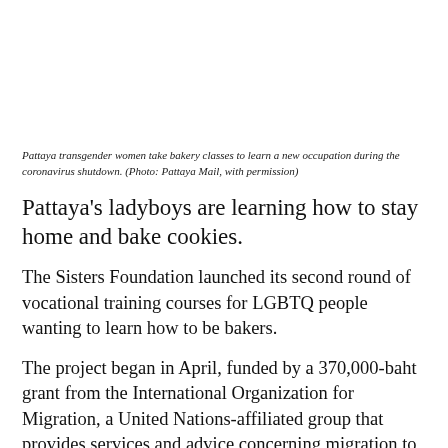Pattaya transgender women take bakery classes to learn a new occupation during the coronavirus shutdown. (Photo: Pattaya Mail, with permission)
Pattaya's ladyboys are learning how to stay home and bake cookies.
The Sisters Foundation launched its second round of vocational training courses for LGBTQ people wanting to learn how to be bakers.
The project began in April, funded by a 370,000-baht grant from the International Organization for Migration, a United Nations-affiliated group that provides services and advice concerning migration to governments and migrants, including internally